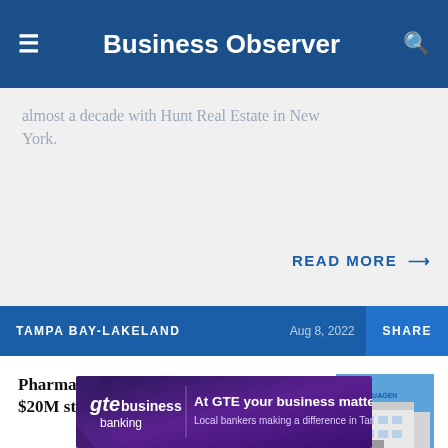Business Observer
almost a decade with Hunt Real Estate in New York.
READ MORE →
TAMPA BAY-LAKELAND   Aug 8, 2022   SHARE
Pharmaceutical manufacturer to build $20M state-of-the-art
[Figure (photo): Exterior photo of a modern pharmaceutical manufacturing facility building against a blue sky]
[Figure (infographic): GTE Business Banking advertisement banner: 'At GTE your business matters — Local bankers making a difference in Tampa Bay']